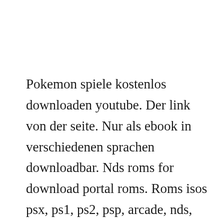Pokemon spiele kostenlos downloaden youtube. Der link von der seite. Nur als ebook in verschiedenen sprachen downloadbar. Nds roms for download portal roms. Roms isos psx, ps1, ps2, psp, arcade, nds, 3ds, wii, gamecube, snes, mega drive, nintendo 64, gba, dreamcast download via torrent.
Pokemon spiele spiele, die besten gratis spiele kostenlos. Kostenlose handyspiele...